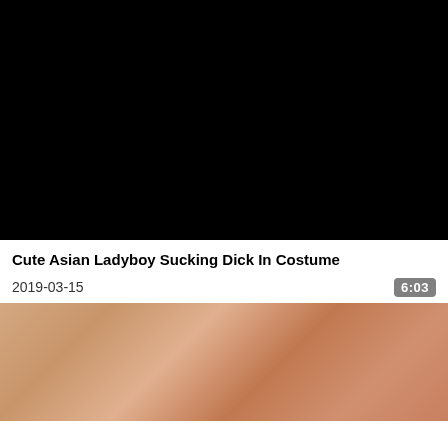[Figure (photo): Black video thumbnail placeholder]
Cute Asian Ladyboy Sucking Dick In Costume
2019-03-15
6:03
[Figure (photo): Video thumbnail showing a person lying down]